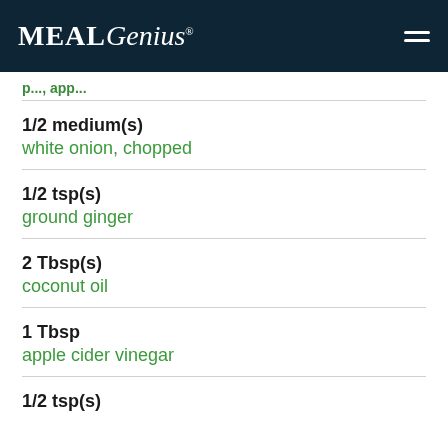MealGenius
1/2 medium(s)
white onion, chopped
1/2 tsp(s)
ground ginger
2 Tbsp(s)
coconut oil
1 Tbsp
apple cider vinegar
1/2 tsp(s)